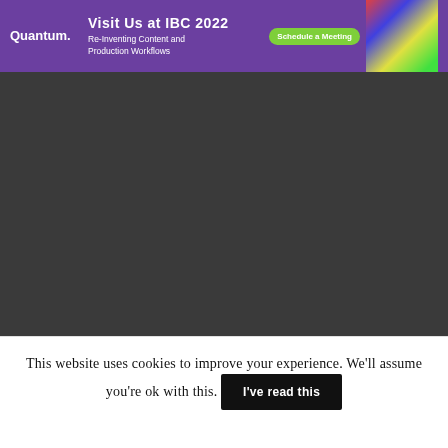[Figure (screenshot): Banner advertisement for Quantum. Purple background with text 'Visit Us at IBC 2022', 'Re-Inventing Content and Production Workflows', a 'Schedule a Meeting' green button, and a colorful grid image on the right.]
[Figure (screenshot): Dark grey video player area, mostly empty/dark content placeholder.]
POST & VFX   13.08.21
[Figure (screenshot): Dark bottom navigation strip with arrow buttons.]
This website uses cookies to improve your experience. We'll assume you're ok with this. I've read this